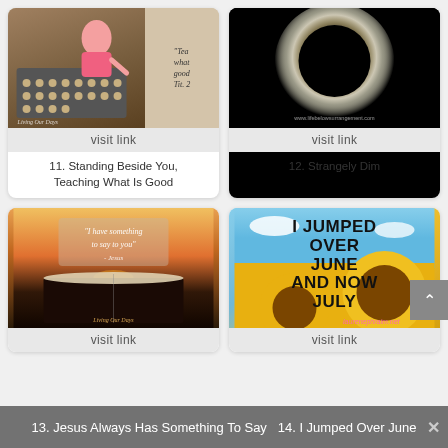[Figure (photo): Child placing items on a baking tray with text overlay 'Teaching what is good']
visit link
11. Standing Beside You, Teaching What Is Good
[Figure (photo): Solar eclipse photo showing corona on black background, watermark www.lifebelowsurrangement.com]
visit link
12. Strangely Dim
[Figure (photo): Open bible on a dock at sunset with text overlay 'I have something to say to you' - Jesus. Watermark: Living Our Days]
visit link
[Figure (photo): Sunflowers background with bold text 'I JUMPED OVER JUNE AND NOW JULY']
visit link
13. Jesus Always Has Something To Say  14. I Jumped Over June